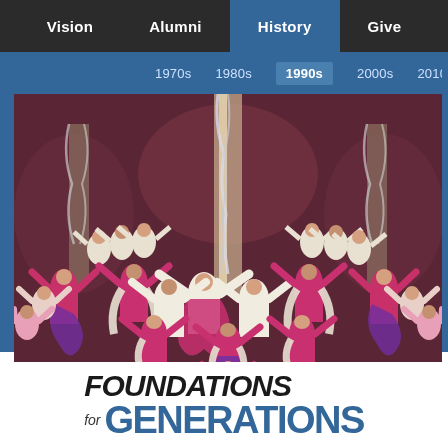Vision | Alumni | History | Give
1970s | 1980s | 1990s | 2000s | 2010s
[Figure (photo): A large group of performers on stage wearing pink/magenta and white costumes with arms raised, in a theatrical production. Stage has decorative columns and streamers.]
FOUNDATIONS for GENERATIONS